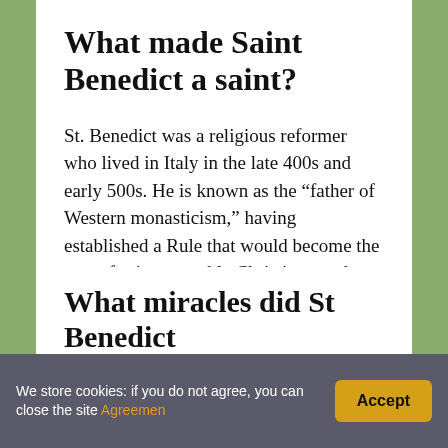What made Saint Benedict a saint?
St. Benedict was a religious reformer who lived in Italy in the late 400s and early 500s. He is known as the “father of Western monasticism,” having established a Rule that would become the norm for innumerable Christian monks and nuns. He is the patron saint of Europe.
What miracles did St Benedict
We store cookies: if you do not agree, you can close the site Agreemen